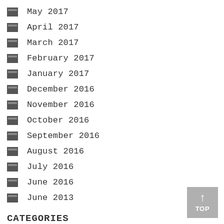May 2017
April 2017
March 2017
February 2017
January 2017
December 2016
November 2016
October 2016
September 2016
August 2016
July 2016
June 2016
June 2013
CATEGORIES